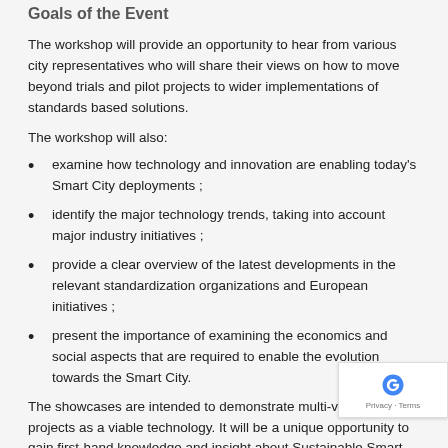Goals of the Event
The workshop will provide an opportunity to hear from various city representatives who will share their views on how to move beyond trials and pilot projects to wider implementations of standards based solutions.
The workshop will also:
examine how technology and innovation are enabling today's Smart City deployments ;
identify the major technology trends, taking into account major industry initiatives ;
provide a clear overview of the latest developments in the relevant standardization organizations and European initiatives ;
present the importance of examining the economics and social aspects that are required to enable the evolution towards the Smart City.
The showcases are intended to demonstrate multi-vendor projects as a viable technology. It will be a unique opportunity to gain first-hand knowledge and insight about Sustainable Smart City in action…